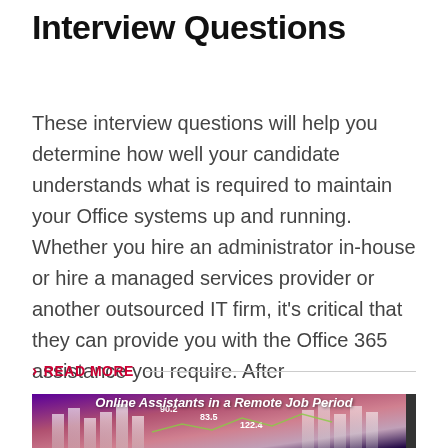Interview Questions
These interview questions will help you determine how well your candidate understands what is required to maintain your Office systems up and running. Whether you hire an administrator in-house or hire a managed services provider or another outsourced IT firm, it's critical that they can provide you with the Office 365 assistance you require. After
READ MORE
[Figure (photo): A decorative banner image with a purple/pink gradient background, bar chart elements with values 90.2, 83.5, and 122.4, overlaid with text 'Online Assistants in a Remote Job Period' in white italic, and a dark right edge.]